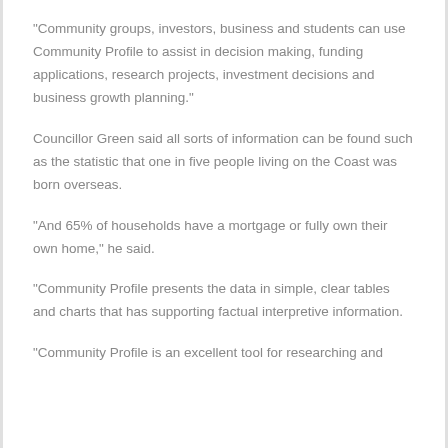“Community groups, investors, business and students can use Community Profile to assist in decision making, funding applications, research projects, investment decisions and business growth planning.”
Councillor Green said all sorts of information can be found such as the statistic that one in five people living on the Coast was born overseas.
“And 65% of households have a mortgage or fully own their own home,” he said.
“Community Profile presents the data in simple, clear tables and charts that has supporting factual interpretive information.
“Community Profile is an excellent tool for researching and